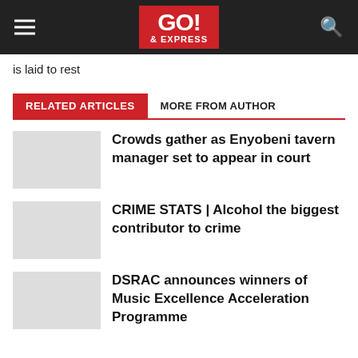GO! & EXPRESS
is laid to rest
RELATED ARTICLES   MORE FROM AUTHOR
Crowds gather as Enyobeni tavern manager set to appear in court
CRIME STATS | Alcohol the biggest contributor to crime
DSRAC announces winners of Music Excellence Acceleration Programme